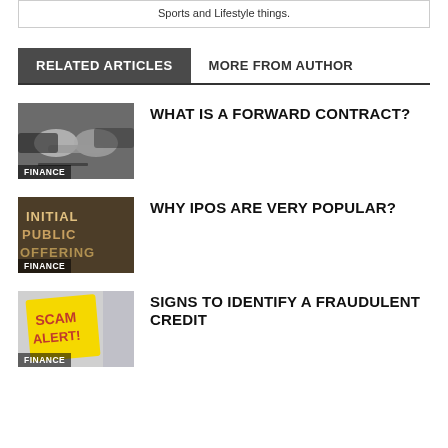Sports and Lifestyle things.
RELATED ARTICLES
MORE FROM AUTHOR
[Figure (photo): Two people shaking hands over a desk with a pen, business contract setting. Label: FINANCE]
WHAT IS A FORWARD CONTRACT?
[Figure (photo): Photo of letters spelling Initial Public Offering on a dark surface. Label: FINANCE]
WHY IPOS ARE VERY POPULAR?
[Figure (photo): Yellow sticky note with SCAM ALERT written on it. Label: FINANCE]
SIGNS TO IDENTIFY A FRAUDULENT CREDIT